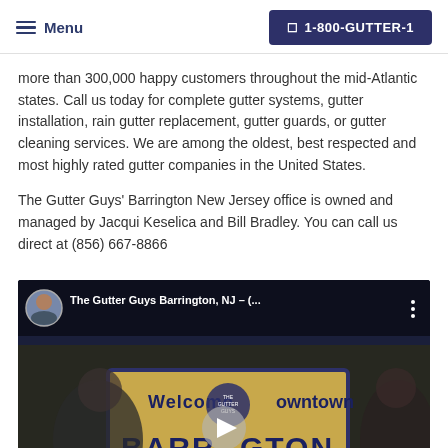Menu | 1-800-GUTTER-1
more than 300,000 happy customers throughout the mid-Atlantic states. Call us today for complete gutter systems, gutter installation, rain gutter replacement, gutter guards, or gutter cleaning services. We are among the oldest, best respected and most highly rated gutter companies in the United States.
The Gutter Guys' Barrington New Jersey office is owned and managed by Jacqui Keselica and Bill Bradley. You can call us direct at (856) 667-8866
[Figure (screenshot): YouTube video thumbnail showing The Gutter Guys Barrington, NJ with a Welcome to Downtown Barrington sign in the background and two people standing in front of it. Video top bar shows avatar, title 'The Gutter Guys Barrington, NJ – (…', and three-dot menu. A play button is visible in the center.]